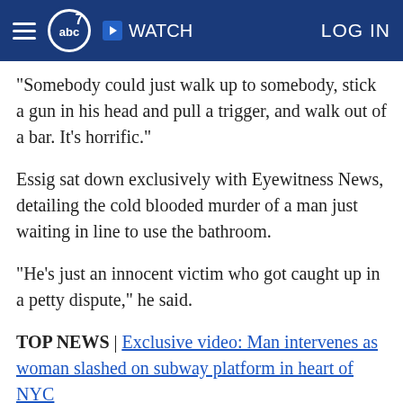abc7 WATCH LOG IN
"Somebody could just walk up to somebody, stick a gun in his head and pull a trigger, and walk out of a bar. It's horrific."
Essig sat down exclusively with Eyewitness News, detailing the cold blooded murder of a man just waiting in line to use the bathroom.
"He's just an innocent victim who got caught up in a petty dispute," he said.
TOP NEWS | Exclusive video: Man intervenes as woman slashed on subway platform in heart of NYC